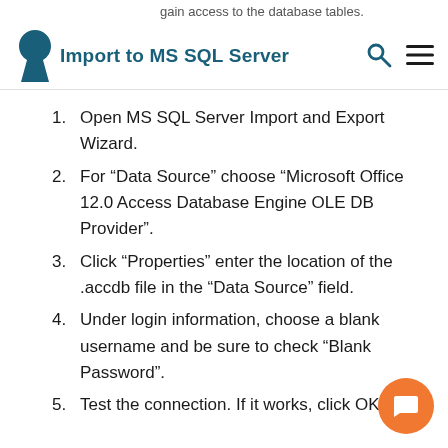gain access to the database tables.
Import to MS SQL Server
Open MS SQL Server Import and Export Wizard.
For “Data Source” choose “Microsoft Office 12.0 Access Database Engine OLE DB Provider”.
Click “Properties” enter the location of the .accdb file in the “Data Source” field.
Under login information, choose a blank username and be sure to check “Blank Password”.
Test the connection. If it works, click OK.